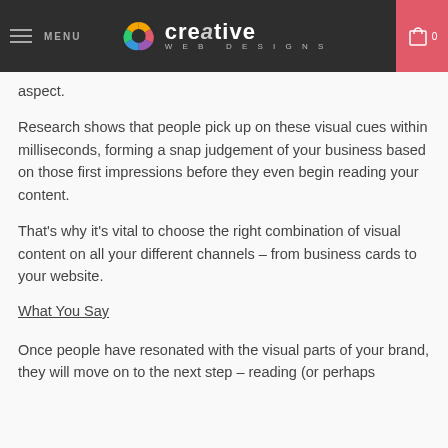MENU | creative WEB DESIGNS | 0
aspect.
Research shows that people pick up on these visual cues within milliseconds, forming a snap judgement of your business based on those first impressions before they even begin reading your content.
That’s why it’s vital to choose the right combination of visual content on all your different channels – from business cards to your website.
What You Say
Once people have resonated with the visual parts of your brand, they will move on to the next step – reading (or perhaps